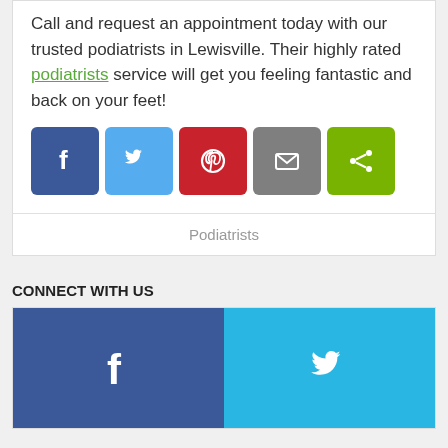Call and request an appointment today with our trusted podiatrists in Lewisville. Their highly rated podiatrists service will get you feeling fantastic and back on your feet!
[Figure (infographic): Row of five social share buttons: Facebook (dark blue), Twitter (light blue), Pinterest (red), Email (grey), Share (green)]
Podiatrists
CONNECT WITH US
[Figure (infographic): Two large social media buttons side by side: Facebook (dark blue) and Twitter (light blue)]